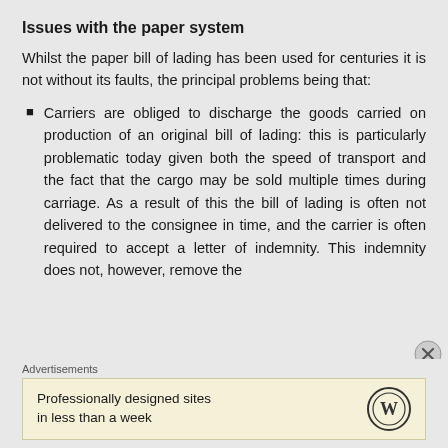Issues with the paper system
Whilst the paper bill of lading has been used for centuries it is not without its faults, the principal problems being that:
Carriers are obliged to discharge the goods carried on production of an original bill of lading: this is particularly problematic today given both the speed of transport and the fact that the cargo may be sold multiple times during carriage. As a result of this the bill of lading is often not delivered to the consignee in time, and the carrier is often required to accept a letter of indemnity. This indemnity does not, however, remove the
[Figure (infographic): Advertisements banner with WordPress logo and text 'Professionally designed sites in less than a week']